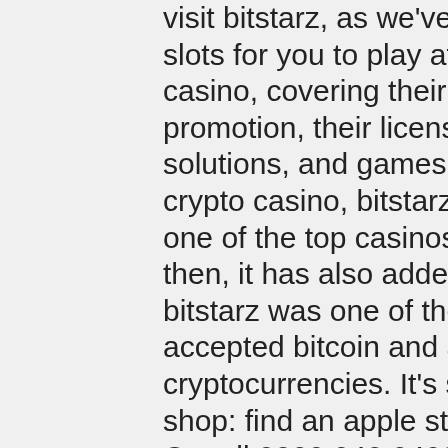visit bitstarz, as we've got more than 2000 bitcoin slots for you to play at our. We review bitstarz casino, covering their range of bonuses and promotion, their licensing, customer service, banking solutions, and games. Launched in 2014 as a pure crypto casino, bitstarz has cemented its place as one of the top casinos for cryptocurrencies. Since then, it has also added fiat. Launched in 2014, bitstarz was one of the first online casinos that accepted bitcoin and a number of other cryptocurrencies. It's since become a. More ways to shop: find an apple store or other retailer near you. Or call 0800 048 0408. Copyright © 2022 apple inc. Find contact information for bitstarz. Learn about their hospitality, gambling &amp; gaming market share, competitors, and bitstarz's email format. Введите bitstarz промокод при регистрации и получите 180 фриспинов и до 2500 usd